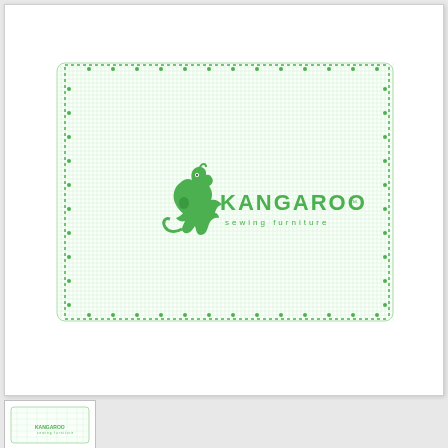[Figure (photo): Kangaroo Sewing Furniture cutting mat with green grid lines, measurement markings, dotted border, and green kangaroo logo in the center. The mat is white/light green with a grid pattern.]
[Figure (photo): Small thumbnail image of the same Kangaroo Sewing Furniture cutting mat.]